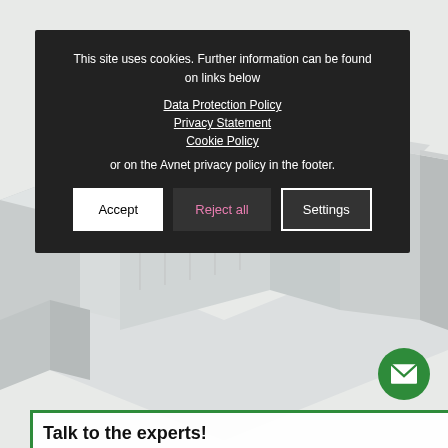Share this entry
This site uses cookies. Further information can be found on links below
Data Protection Policy
Privacy Statement
Cookie Policy
or on the Avnet privacy policy in the footer.
Accept | Reject all | Settings
[Figure (illustration): Isometric warehouse/factory illustration in light grey and white]
Talk to the experts!